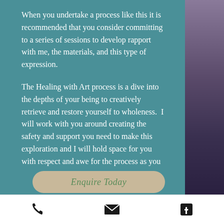When you undertake a process like this it is recommended that you consider committing to a series of sessions to develop rapport with me, the materials, and this type of expression.
The Healing with Art process is a dive into the depths of your being to creatively retrieve and restore yourself to wholeness.  I will work with you around creating the safety and support you need to make this exploration and I will hold space for you with respect and awe for the process as you do so.  I will be your guide and travelling companion as you traverse your inner terrain.
Enquire Today